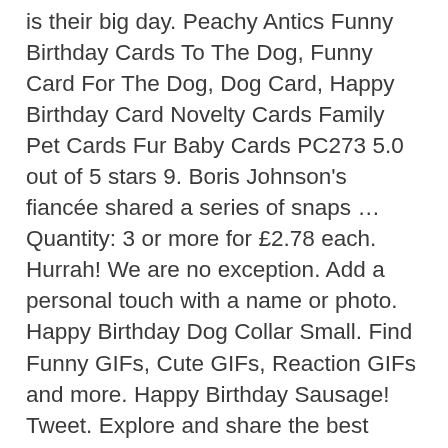is their big day. Peachy Antics Funny Birthday Cards To The Dog, Funny Card For The Dog, Dog Card, Happy Birthday Card Novelty Cards Family Pet Cards Fur Baby Cards PC273 5.0 out of 5 stars 9. Boris Johnson's fiancée shared a series of snaps … Quantity: 3 or more for £2.78 each. Hurrah! We are no exception. Add a personal touch with a name or photo. Happy Birthday Dog Collar Small. Find Funny GIFs, Cute GIFs, Reaction GIFs and more. Happy Birthday Sausage! Tweet. Explore and share the best Happy Birthday Dog GIFs and most popular animated GIFs here on GIPHY. £3.55. Blue; White; Shipping & delivery. Funny Happy Birthday Party Dog, Drinking, Alcohol, From